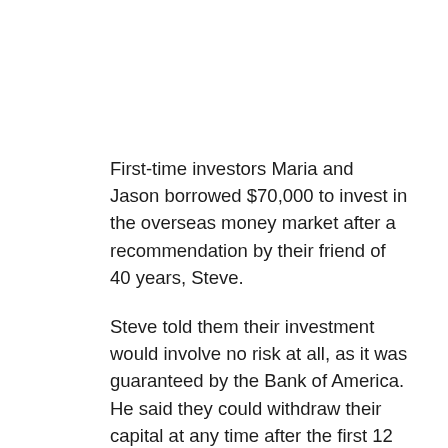First-time investors Maria and Jason borrowed $70,000 to invest in the overseas money market after a recommendation by their friend of 40 years, Steve.
Steve told them their investment would involve no risk at all, as it was guaranteed by the Bank of America. He said they could withdraw their capital at any time after the first 12 months. The return promised on the investment was fantastic (26% per year on their initial investment). Steve helped the couple arrange to borrow the $70,000 they would invest.
But the scheme was not real – they were caught